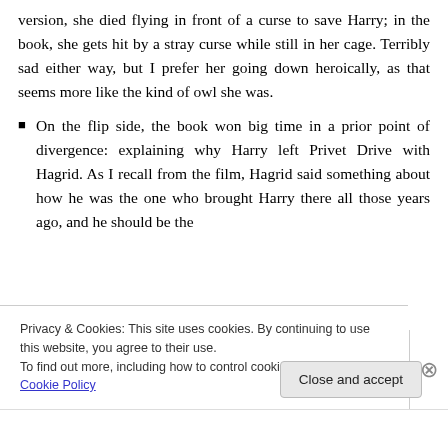version, she died flying in front of a curse to save Harry; in the book, she gets hit by a stray curse while still in her cage. Terribly sad either way, but I prefer her going down heroically, as that seems more like the kind of owl she was.
On the flip side, the book won big time in a prior point of divergence: explaining why Harry left Privet Drive with Hagrid. As I recall from the film, Hagrid said something about how he was the one who brought Harry there all those years ago, and he should be the
Privacy & Cookies: This site uses cookies. By continuing to use this website, you agree to their use.
To find out more, including how to control cookies, see here: Cookie Policy